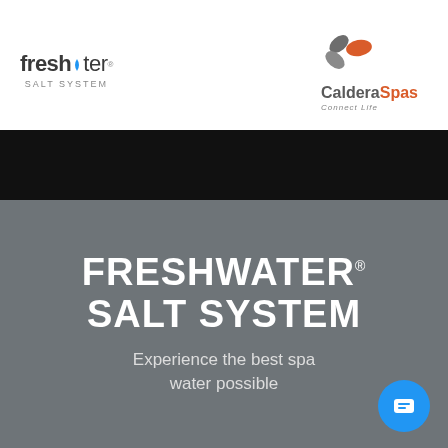[Figure (logo): FreshWater Salt System logo with water drop icon and text]
[Figure (logo): Caldera Spas logo with abstract leaf/petal shapes in gray and orange, tagline 'Connect Life']
[Figure (photo): Black banner/bar spanning full width below the header logos]
FRESHWATER® SALT SYSTEM
Experience the best spa water possible